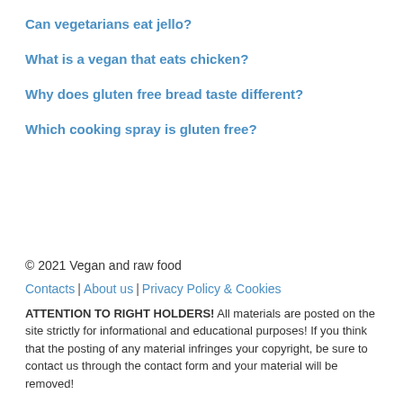Can vegetarians eat jello?
What is a vegan that eats chicken?
Why does gluten free bread taste different?
Which cooking spray is gluten free?
© 2021 Vegan and raw food
Contacts | About us | Privacy Policy & Cookies
ATTENTION TO RIGHT HOLDERS! All materials are posted on the site strictly for informational and educational purposes! If you think that the posting of any material infringes your copyright, be sure to contact us through the contact form and your material will be removed!